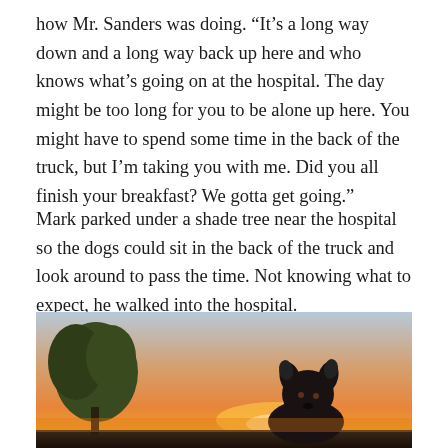how Mr. Sanders was doing. “It’s a long way down and a long way back up here and who knows what’s going on at the hospital. The day might be too long for you to be alone up here. You might have to spend some time in the back of the truck, but I’m taking you with me. Did you all finish your breakfast? We gotta get going.”
Mark parked under a shade tree near the hospital so the dogs could sit in the back of the truck and look around to pass the time. Not knowing what to expect, he walked into the hospital.
[Figure (photo): A dog silhouetted against a sunset sky with warm orange and pink hues, a tree visible on the left side of the image]